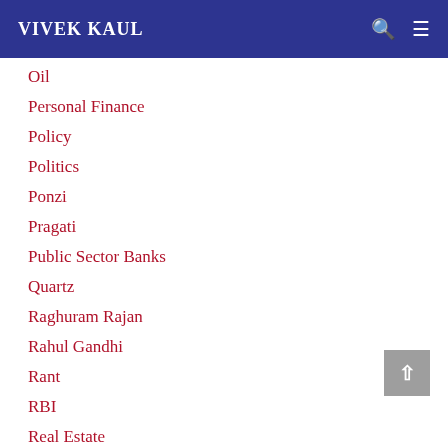VIVEK KAUL
Oil
Personal Finance
Policy
Politics
Ponzi
Pragati
Public Sector Banks
Quartz
Raghuram Rajan
Rahul Gandhi
Rant
RBI
Real Estate